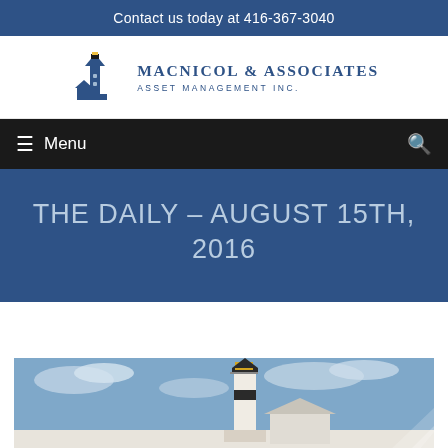Contact us today at 416-367-3040
[Figure (logo): MacNicol & Associates Asset Management Inc. logo with lighthouse illustration]
≡ Menu
THE DAILY – AUGUST 15TH, 2016
[Figure (photo): Lighthouse photograph with blue sky and clouds, partially visible]